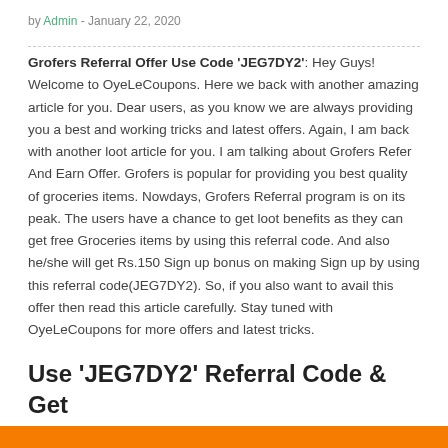by Admin - January 22, 2020
Grofers Referral Offer Use Code 'JEG7DY2': Hey Guys! Welcome to OyeLeCoupons. Here we back with another amazing article for you. Dear users, as you know we are always providing you a best and working tricks and latest offers. Again, I am back with another loot article for you. I am talking about Grofers Refer And Earn Offer. Grofers is popular for providing you best quality of groceries items. Nowdays, Grofers Referral program is on its peak. The users have a chance to get loot benefits as they can get free Groceries items by using this referral code. And also he/she will get Rs.150 Sign up bonus on making Sign up by using this referral code(JEG7DY2). So, if you also want to avail this offer then read this article carefully. Stay tuned with OyeLeCoupons for more offers and latest tricks.
Use 'JEG7DY2' Referral Code & Get Free Grocery Products
[Figure (photo): Orange banner/image strip at bottom of page, partially visible, appears to show grocery-related imagery]